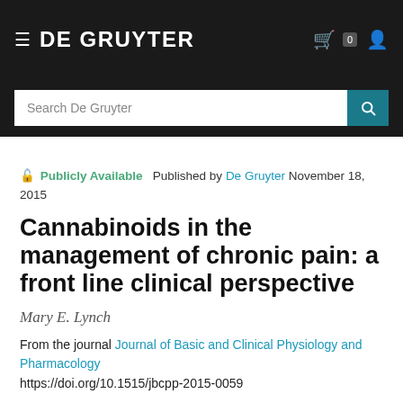DE GRUYTER
🔒 Publicly Available  Published by De Gruyter November 18, 2015
Cannabinoids in the management of chronic pain: a front line clinical perspective
Mary E. Lynch
From the journal Journal of Basic and Clinical Physiology and Pharmacology
https://doi.org/10.1515/jbcpp-2015-0059
Cite this  Citations  12